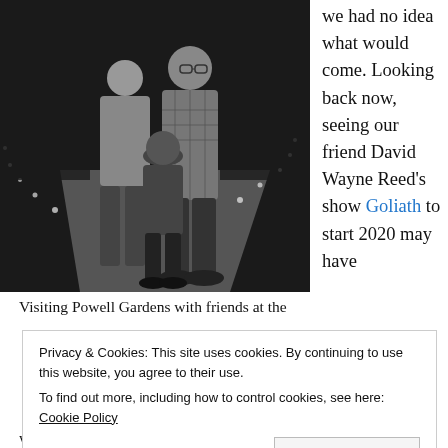[Figure (photo): Black and white photo of three people standing on a path outdoors at night with string lights in the background. Two adults and a child posing together.]
Visiting Powell Gardens with friends at the
we had no idea what would come. Looking back now, seeing our friend David Wayne Reed's show Goliath to start 2020 may have
Privacy & Cookies: This site uses cookies. By continuing to use this website, you agree to their use.
To find out more, including how to control cookies, see here: Cookie Policy
we can face what life throws at us and come out better on